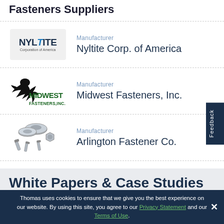Fasteners Suppliers
Manufacturer
Nyltite Corp. of America
Manufacturer
Midwest Fasteners, Inc.
Manufacturer
Arlington Fastener Co.
White Papers & Case Studies
Thomas uses cookies to ensure that we give you the best experience on our website. By using this site, you agree to our Privacy Statement and our Terms of Use.